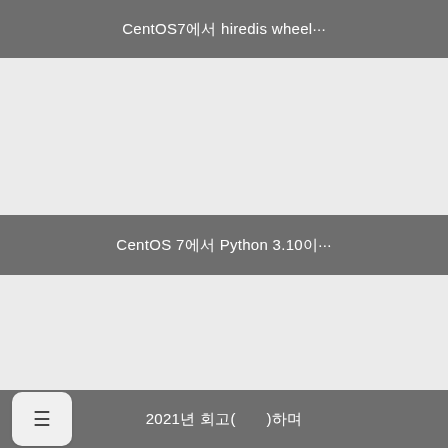CentOS7에서 hiredis wheel···
CentOS 7에서 Python 3.10이···
2021년 회고(　　)하며